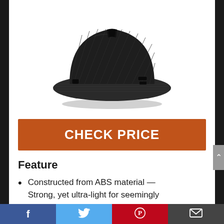[Figure (photo): Black carbon-fiber patterned full-brim hard hat on white background]
CHECK PRICE
Feature
Constructed from ABS material — Strong, yet ultra-light for seemingly
Facebook | Twitter | Pinterest | Email